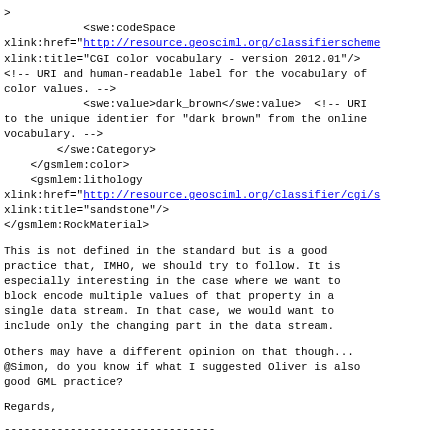>
            <swe:codeSpace
xlink:href="http://resource.geosciml.org/classifierscheme...
xlink:title="CGI color vocabulary - version 2012.01"/>
<!-- URI and human-readable label for the vocabulary of
color values. -->
            <swe:value>dark_brown</swe:value>  <!-- URI
to the unique identier for "dark brown" from the online
vocabulary. -->
        </swe:Category>
    </gsmlem:color>
    <gsmlem:lithology
xlink:href="http://resource.geosciml.org/classifier/cgi/s...
xlink:title="sandstone"/>
</gsmlem:RockMaterial>
This is not defined in the standard but is a good practice that, IMHO, we should try to follow. It is especially interesting in the case where we want to block encode multiple values of that property in a single data stream. In that case, we would want to include only the changing part in the data stream.
Others may have a different opinion on that though... @Simon, do you know if what I suggested Oliver is also good GML practice?
Regards,
--------------------------------